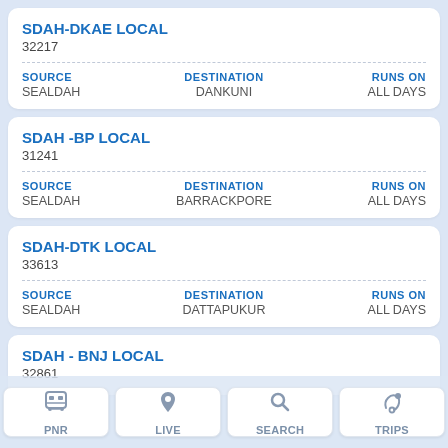SDAH-DKAE LOCAL
32217
SOURCE: SEALDAH | DESTINATION: DANKUNI | RUNS ON: ALL DAYS
SDAH -BP LOCAL
31241
SOURCE: SEALDAH | DESTINATION: BARRACKPORE | RUNS ON: ALL DAYS
SDAH-DTK LOCAL
33613
SOURCE: SEALDAH | DESTINATION: DATTAPUKUR | RUNS ON: ALL DAYS
SDAH - BNJ LOCAL
32861
SOURCE: SEALDAH | DESTINATION: BANGAON | RUNS ON: ALL DAYS
PNR | LIVE | SEARCH | TRIPS